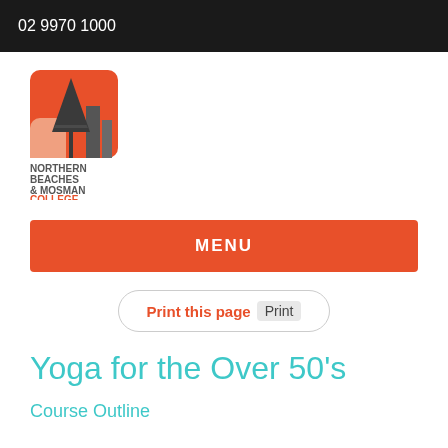02 9970 1000
[Figure (logo): Northern Beaches & Mosman College logo: orange rounded square with a tree and building silhouette, with text NORTHERN BEACHES & MOSMAN COLLEGE below]
MENU
Print this page  Print
Yoga for the Over 50's
Course Outline